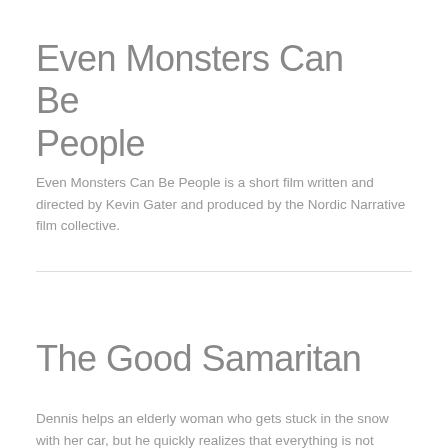Even Monsters Can Be People
Even Monsters Can Be People is a short film written and directed by Kevin Gater and produced by the Nordic Narrative film collective.
The Good Samaritan
Dennis helps an elderly woman who gets stuck in the snow with her car, but he quickly realizes that everything is not